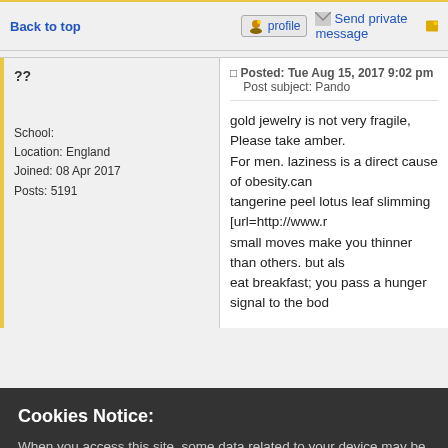Back to top
profile  Send private message
??
School:
Location: England
Joined: 08 Apr 2017
Posts: 5191
Posted: Tue Aug 15, 2017 9:02 pm   Post subject: Pando
gold jewelry is not very fragile, Please take amber. For men. laziness is a direct cause of obesity.can tangerine peel lotus leaf slimming [url=http://www. small moves make you thinner than others. but als eat breakfast; you pass a hunger signal to the bod
Cookies Notice:
When you access this site, some data related to your device may be collected, as well as cookies, so that we can operate our systems and provide personalized content for you. To learn more about cookies access our Privacy Policy. To accept, click the accept cookies button, or if you do not accept it, check here your preferences
ACCEPT COOKIES